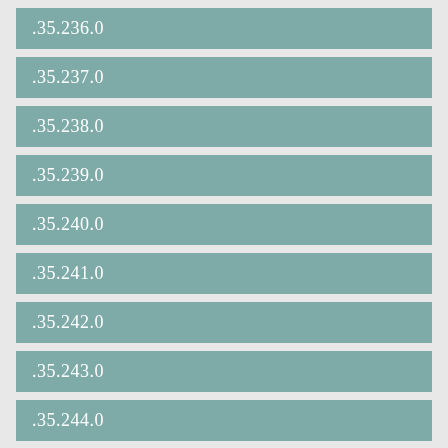.35.236.0
.35.237.0
.35.238.0
.35.239.0
.35.240.0
.35.241.0
.35.242.0
.35.243.0
.35.244.0